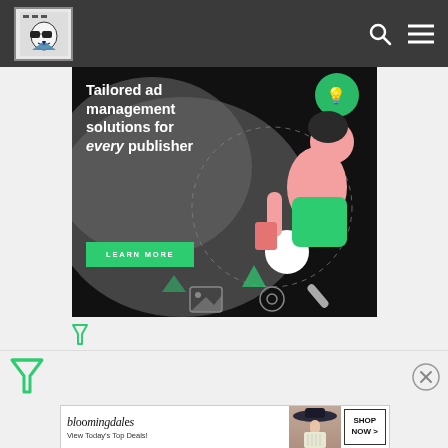[Figure (screenshot): Website navigation bar with a logo (illustrated figure with sunglasses), search icon, and hamburger menu icon on dark gray background]
[Figure (infographic): Advertisement banner: dark background with illustrated person and text 'Tailored ad management solutions for every publisher' with green 'LEARN MORE' button]
[Figure (logo): Small green filter/funnel icon below the top ad banner]
[Figure (logo): Large green filter/funnel icon on the left side of the filter row]
[Figure (logo): Circle X (close) button on right side of filter row]
[Figure (infographic): Bloomingdale's advertisement banner: 'bloomingdales / View Today's Top Deals!' with woman in hat image and 'SHOP NOW >' button]